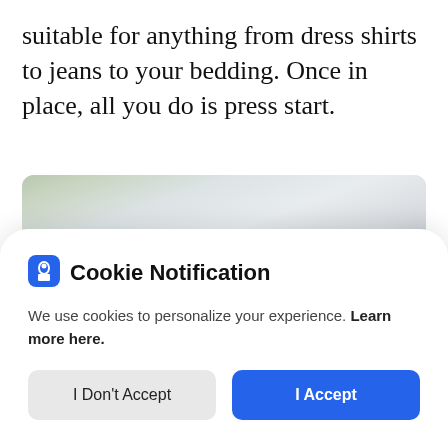suitable for anything from dress shirts to jeans to your bedding. Once in place, all you do is press start.
[Figure (photo): Close-up photograph of what appears to be a laundry folding machine or appliance, showing its dark mechanical interior with rollers, set against a bright room background with white walls and a hint of greenery.]
Cookie Notification
We use cookies to personalize your experience. Learn more here.
[I Don't Accept] [I Accept]